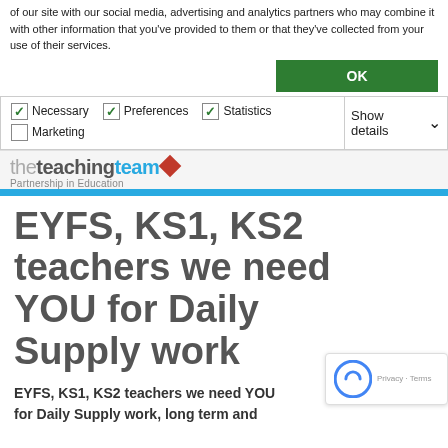of our site with our social media, advertising and analytics partners who may combine it with other information that you've provided to them or that they've collected from your use of their services.
OK
| ✓ Necessary | ✓ Preferences | ✓ Statistics | Show details ∨ |
| ☐ Marketing |  |  |  |
[Figure (logo): theteachingteam logo with tagline 'Partnership in Education']
EYFS, KS1, KS2 teachers we need YOU for Daily Supply work
EYFS, KS1, KS2 teachers we need YOU for Daily Supply work, long term and